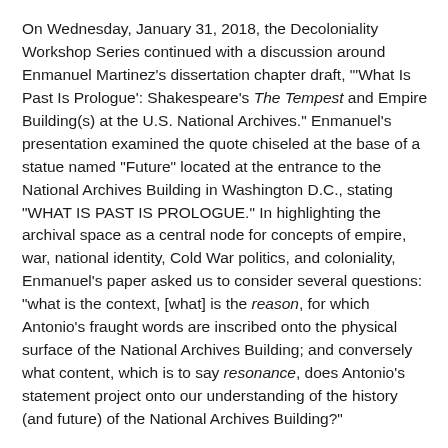On Wednesday, January 31, 2018, the Decoloniality Workshop Series continued with a discussion around Enmanuel Martinez's dissertation chapter draft, "'What Is Past Is Prologue': Shakespeare's The Tempest and Empire Building(s) at the U.S. National Archives." Enmanuel's presentation examined the quote chiseled at the base of a statue named "Future" located at the entrance to the National Archives Building in Washington D.C., stating "WHAT IS PAST IS PROLOGUE." In highlighting the archival space as a central node for concepts of empire, war, national identity, Cold War politics, and coloniality, Enmanuel's paper asked us to consider several questions: "what is the context, [what] is the reason, for which Antonio's fraught words are inscribed onto the physical surface of the National Archives Building; and conversely what content, which is to say resonance, does Antonio's statement project onto our understanding of the history (and future) of the National Archives Building?"